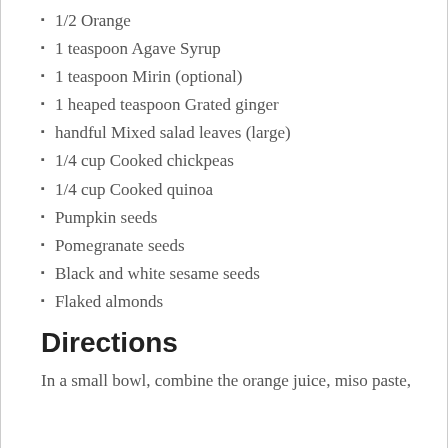1/2 Orange
1 teaspoon Agave Syrup
1 teaspoon Mirin (optional)
1 heaped teaspoon Grated ginger
handful Mixed salad leaves (large)
1/4 cup Cooked chickpeas
1/4 cup Cooked quinoa
Pumpkin seeds
Pomegranate seeds
Black and white sesame seeds
Flaked almonds
Directions
In a small bowl, combine the orange juice, miso paste,